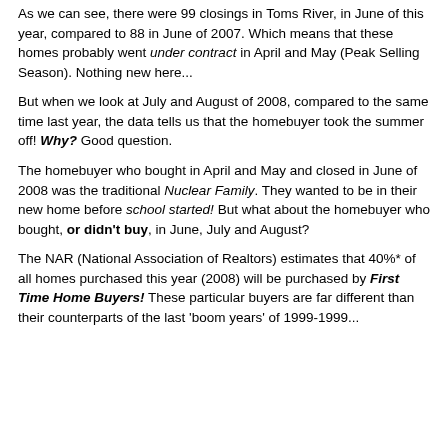As we can see, there were 99 closings in Toms River, in June of this year, compared to 88 in June of 2007. Which means that these homes probably went under contract in April and May (Peak Selling Season). Nothing new here...
But when we look at July and August of 2008, compared to the same time last year, the data tells us that the homebuyer took the summer off! Why? Good question.
The homebuyer who bought in April and May and closed in June of 2008 was the traditional Nuclear Family. They wanted to be in their new home before school started! But what about the homebuyer who bought, or didn't buy, in June, July and August?
The NAR (National Association of Realtors) estimates that 40%* of all homes purchased this year (2008) will be purchased by First Time Home Buyers! These particular buyers are far different than their counterparts of the last 'boom years' of 1999-1999...